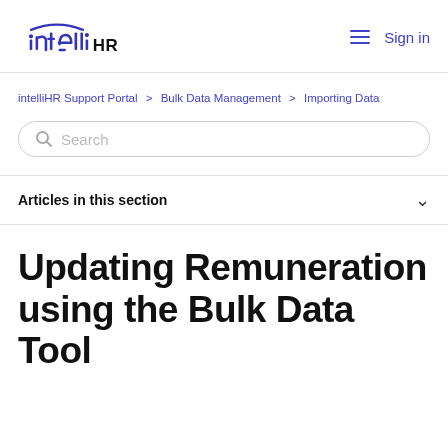intelliHR — Sign in
intelliHR Support Portal > Bulk Data Management > Importing Data
Search
Articles in this section
Updating Remuneration using the Bulk Data Tool